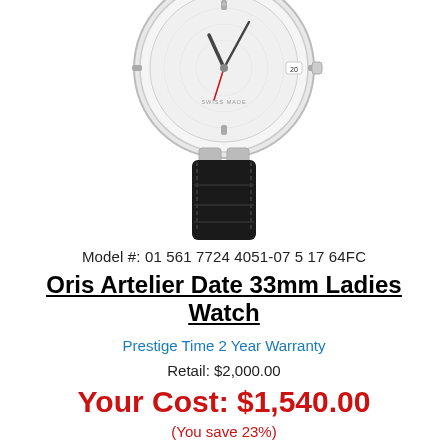[Figure (photo): Partial photo of Oris Artelier Date 33mm Ladies Watch showing the watch face and black leather strap from above, cropped, on white background.]
Model #: 01 561 7724 4051-07 5 17 64FC
Oris Artelier Date 33mm Ladies Watch
Prestige Time 2 Year Warranty
Retail: $2,000.00
Your Cost: $1,540.00
(You save 23%)